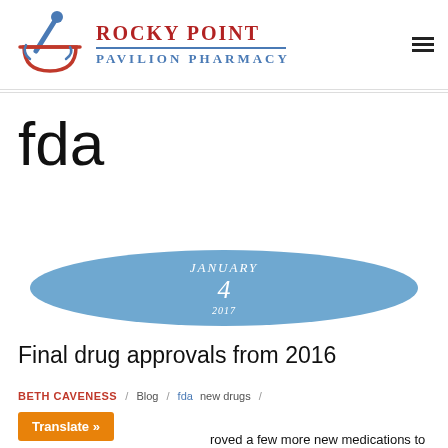[Figure (logo): Rocky Point Pavilion Pharmacy logo with mortar and pestle icon in red and blue]
fda
[Figure (infographic): Blue ellipse/oval shape with date: JANUARY 4 2017]
Final drug approvals from 2016
BETH CAVENESS / Blog / fda new drugs /
Translate »
roved a few more new medications to